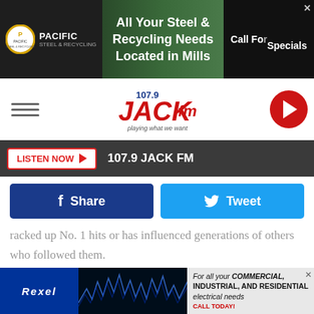[Figure (screenshot): Pacific Steel & Recycling advertisement banner: logo on left, text 'All Your Steel & Recycling Needs Located in Mills', 'Call For Specials' on right]
[Figure (logo): 107.9 JACK fm radio station logo with hamburger menu on left and play button circle on right]
LISTEN NOW ▶  107.9 JACK FM
f  Share
Tweet
racked up No. 1 hits or has influenced generations of others who followed them.
We're not saying every single record found in our list of Masterpieces: The Very Best Albums From More Than 100 Classic Rock Acts belongs in your collection. We're not even sure if your tastes are as wide-ranging as ours. But these are excellent places to start, whether you've worn out your copy
[Figure (screenshot): Rexel advertisement banner: Rexel logo on dark blue background, electrical wave graphic, text 'For all your COMMERCIAL, INDUSTRIAL, AND RESIDENTIAL electrical needs CALL TODAY!']